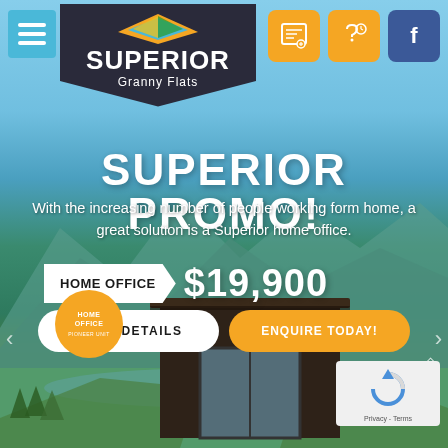[Figure (screenshot): Superior Granny Flats website screenshot showing promo page with logo, navigation icons, mountain background, promotional text, pricing for home office at $19,900, and CTA buttons]
SUPERIOR PROMO!
With the increasing number of people working form home, a great solution is a Superior home office.
HOME OFFICE  $19,900
MORE DETAILS
ENQUIRE TODAY!
HOME OFFICE PIONEER UNIT